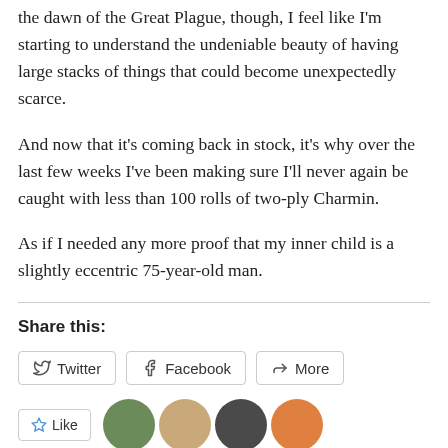the dawn of the Great Plague, though, I feel like I'm starting to understand the undeniable beauty of having large stacks of things that could become unexpectedly scarce.
And now that it's coming back in stock, it's why over the last few weeks I've been making sure I'll never again be caught with less than 100 rolls of two-ply Charmin.
As if I needed any more proof that my inner child is a slightly eccentric 75-year-old man.
Share this:
[Figure (other): Share buttons: Twitter, Facebook, More]
[Figure (other): Like button and user avatars]